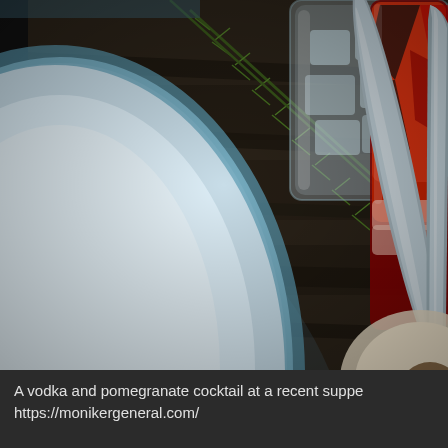[Figure (photo): A table setting photographed from above showing a white ceramic plate on the left, a silver butter knife in the center on a dark wooden table, fresh rosemary sprigs, a glass tumbler with ice in the upper center, and a red cocktail in a glass with red and black design on the upper right. A partial view of another plate or item is visible at the bottom right.]
A vodka and pomegranate cocktail at a recent suppe https://monikergeneral.com/